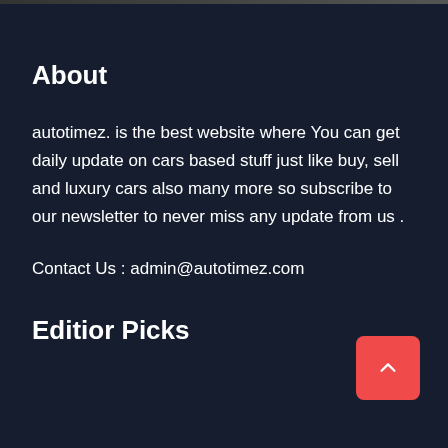About
autotimez. is the best website where You can get daily update on cars based stuff just like buy, sell and luxury cars also many more so subscribe to our newsletter to never miss any update from us .
Contact Us : admin@autotimez.com
Editior Picks
[Figure (other): Red scroll-to-top button with an upward chevron arrow, positioned at bottom right]